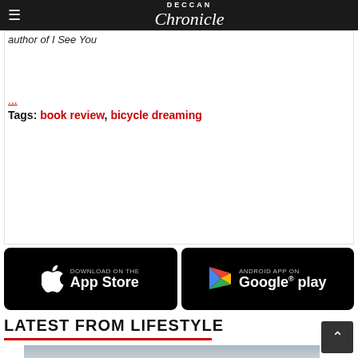Deccan Chronicle
author of I See You
...
Tags: book review, bicycle dreaming
[Figure (screenshot): Download on the App Store button (black, Apple logo)]
[Figure (screenshot): Android App on Google Play button (black, Google Play triangle logo)]
LATEST FROM LIFESTYLE
[Figure (photo): Photo of two men standing indoors, appears to be in a large warehouse or factory setting]